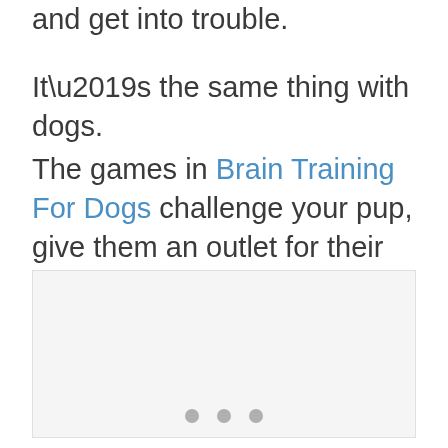and get into trouble.
It’s the same thing with dogs.
The games in Brain Training For Dogs challenge your pup, give them an outlet for their mental energy, and lets them bond and have fun with you.
[Figure (photo): Image placeholder with three dots indicator at bottom center]